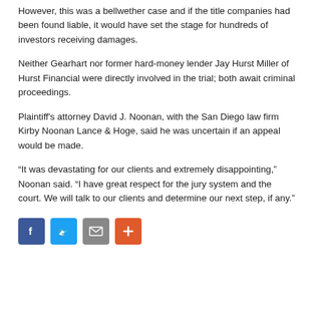However, this was a bellwether case and if the title companies had been found liable, it would have set the stage for hundreds of investors receiving damages.
Neither Gearhart nor former hard-money lender Jay Hurst Miller of Hurst Financial were directly involved in the trial; both await criminal proceedings.
Plaintiff’s attorney David J. Noonan, with the San Diego law firm Kirby Noonan Lance & Hoge, said he was uncertain if an appeal would be made.
“It was devastating for our clients and extremely disappointing,” Noonan said. “I have great respect for the jury system and the court. We will talk to our clients and determine our next step, if any.”
[Figure (other): Social sharing buttons: Facebook (blue), Twitter (light blue), Email (gray), Plus/share (orange-red)]